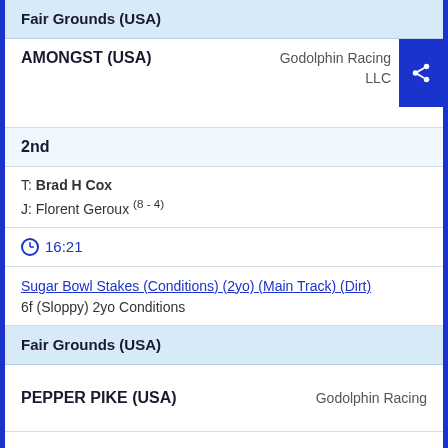Fair Grounds (USA)
AMONGST (USA)   Godolphin Racing LLC
2nd
T: Brad H Cox
J: Florent Geroux (8 - 4)
16:21
Sugar Bowl Stakes (Conditions) (2yo) (Main Track) (Dirt)
6f (Sloppy) 2yo Conditions
Fair Grounds (USA)
PEPPER PIKE (USA)   Godolphin Racing